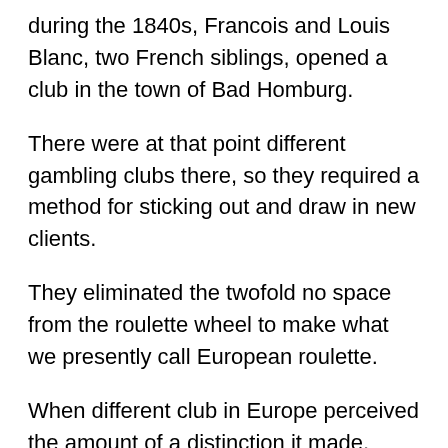during the 1840s, Francois and Louis Blanc, two French siblings, opened a club in the town of Bad Homburg.
There were at that point different gambling clubs there, so they required a method for sticking out and draw in new clients.
They eliminated the twofold no space from the roulette wheel to make what we presently call European roulette.
When different club in Europe perceived the amount of a distinction it made, practically every one of them changed to the single-zero form
WHICH IS THE REASON IT IS PRESENTLY